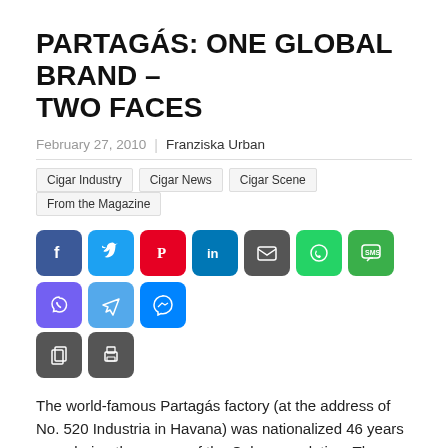PARTAGÁS: ONE GLOBAL BRAND – TWO FACES
February 27, 2010  |  Franziska Urban
Cigar Industry
Cigar News
Cigar Scene
From the Magazine
[Figure (infographic): Social share buttons: Facebook (blue), Twitter (blue), Pinterest (red), LinkedIn (dark blue), Email (dark grey), WhatsApp (green), SMS (green), Viber (purple), Telegram (light blue), Messenger (blue), Copy (dark grey), Print (dark grey)]
The world-famous Partagás factory (at the address of No. 520 Industria in Havana) was nationalized 46 years ago, during the course of the Cuban revolution. The proprietor family, by the name of Cifuentes, had to leave everything behind when emigrating to the USA with nothing but the